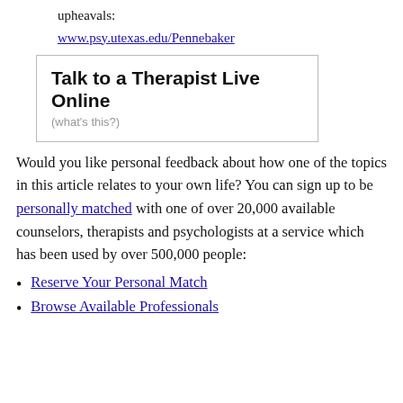upheavals:
www.psy.utexas.edu/Pennebaker
Talk to a Therapist Live Online
(what's this?)
Would you like personal feedback about how one of the topics in this article relates to your own life? You can sign up to be personally matched with one of over 20,000 available counselors, therapists and psychologists at a service which has been used by over 500,000 people:
Reserve Your Personal Match
Browse Available Professionals